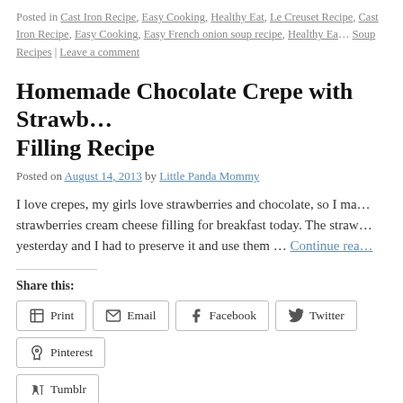Posted in Cast Iron Recipe, Easy Cooking, Healthy Eat, Le Creuset Recipe, Cast Iron Recipe, Easy Cooking, Easy French onion soup recipe, Healthy Eat, Soup Recipes | Leave a comment
Homemade Chocolate Crepe with Strawberry Filling Recipe
Posted on August 14, 2013 by Little Panda Mommy
I love crepes, my girls love strawberries and chocolate, so I made strawberries cream cheese filling for breakfast today. The straw yesterday and I had to preserve it and use them … Continue reading
Share this:
Print | Email | Facebook | Twitter | Pinterest | Tumblr
Like this: